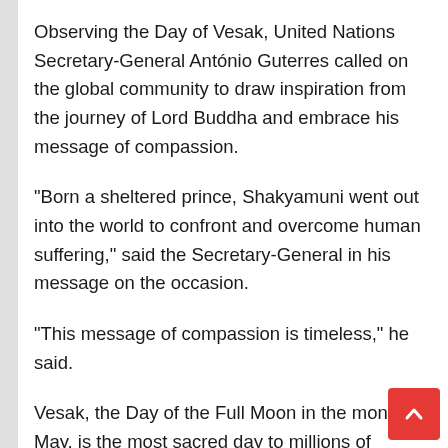Observing the Day of Vesak, United Nations Secretary-General António Guterres called on the global community to draw inspiration from the journey of Lord Buddha and embrace his message of compassion.
“Born a sheltered prince, Shakyamuni went out into the world to confront and overcome human suffering,” said the Secretary-General in his message on the occasion.
“This message of compassion is timeless,” he said.
Vesak, the Day of the Full Moon in the month of May, is the most sacred day to millions of Buddhists around the world.